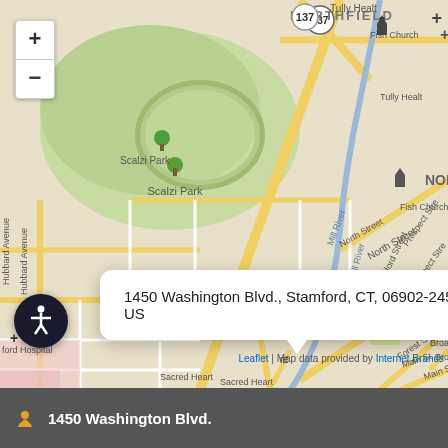[Figure (map): Street map of Stamford, CT area showing Scalzi Park, Northfield neighborhood, Saint John Cemetery, UConn Stamford, Mill River, and surrounding streets. A popup shows the address '1450 Washington Blvd., Stamford, CT, 06902-2451, US'. Map includes zoom controls (+/-) in top left corner. Attribution: Leaflet | Map data provided by Internet Brands.]
1450 Washington Blvd., Stamford, CT, 06902-2451, US
Leaflet | Map data provided by Internet Brands
1450 Washington Blvd.